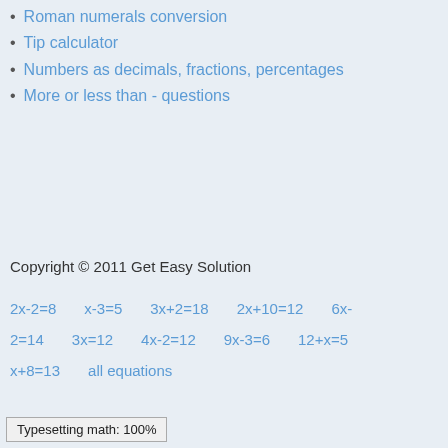Roman numerals conversion
Tip calculator
Numbers as decimals, fractions, percentages
More or less than - questions
Copyright © 2011 Get Easy Solution
2x-2=8   x-3=5   3x+2=18   2x+10=12   6x-2=14   3x=12   4x-2=12   9x-3=6   12+x=5   x+8=13   all equations
Typesetting math: 100%